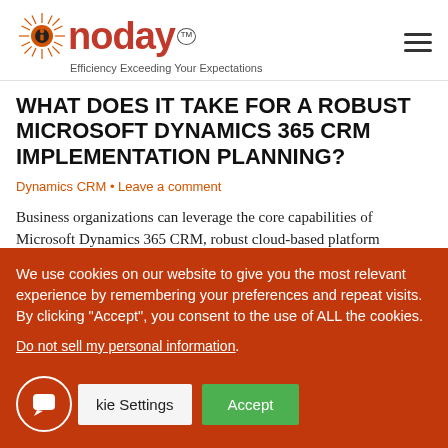Inoday™ — Efficiency Exceeding Your Expectations
WHAT DOES IT TAKE FOR A ROBUST MICROSOFT DYNAMICS 365 CRM IMPLEMENTATION PLANNING?
Dynamics CRM • Leave a comment
Business organizations can leverage the core capabilities of Microsoft Dynamics 365 CRM, robust cloud-based platform
We use cookies on our website to give you the most relevant experience by remembering your preferences and repeat visits. By clicking "Accept", you consent to the use of ALL the cookies.
Do not sell my personal information.